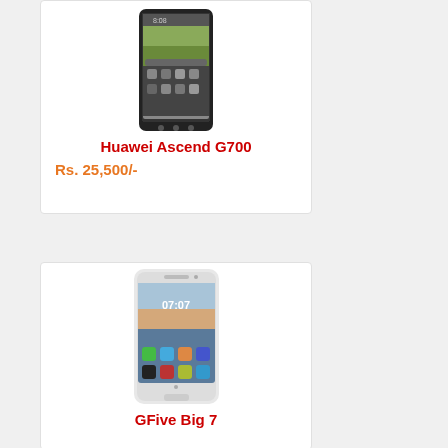[Figure (photo): Huawei Ascend G700 smartphone front view showing home screen with app icons]
Huawei Ascend G700
Rs. 25,500/-
[Figure (photo): GFive Big 7 smartphone front view showing home screen with time 07:07]
GFive Big 7